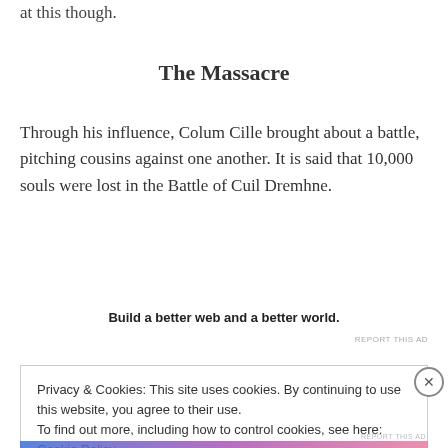at this though.
The Massacre
Through his influence, Colum Cille brought about a battle, pitching cousins against one another. It is said that 10,000 souls were lost in the Battle of Cuil Dremhne.
Build a better web and a better world.
REPORT THIS AD
Privacy & Cookies: This site uses cookies. By continuing to use this website, you agree to their use.
To find out more, including how to control cookies, see here: Cookie Policy
Close and accept